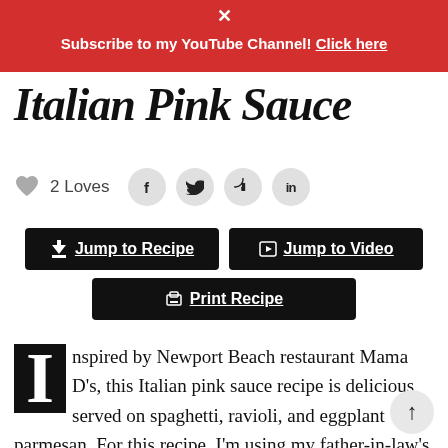Subscribe to my YouTube Channel! Click here
Italian Pink Sauce
2 Loves
Jump to Recipe  Jump to Video  Print Recipe
Inspired by Newport Beach restaurant Mama D's, this Italian pink sauce recipe is delicious served on spaghetti, ravioli, and eggplant parmesan. For this recipe, I’m using my father-in-law’s fresh jarred heirloom tomatoes. You can use a good-quality San Marzano canned tomato